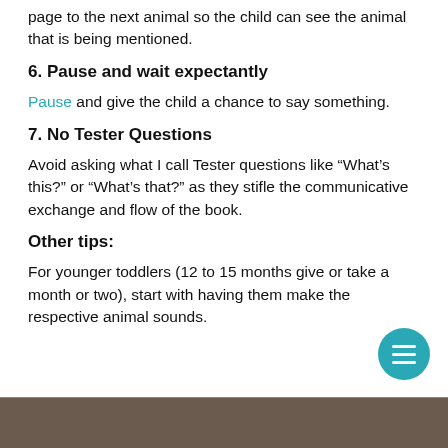page to the next animal so the child can see the animal that is being mentioned.
6. Pause and wait expectantly
Pause and give the child a chance to say something.
7. No Tester Questions
Avoid asking what I call Tester questions like “What’s this?” or “What’s that?” as they stifle the communicative exchange and flow of the book.
Other tips:
For younger toddlers (12 to 15 months give or take a month or two), start with having them make the respective animal sounds.
[Figure (photo): Bottom strip showing a partial photo, dark brownish background]